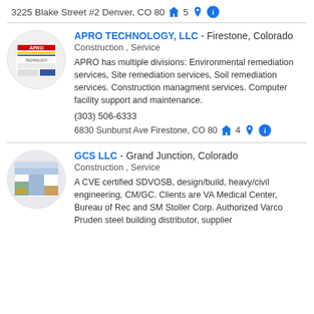3225 Blake Street #2 Denver, CO 80205
[Figure (logo): APRO Technology LLC circular logo with company branding]
APRO TECHNOLOGY, LLC - Firestone, Colorado
Construction , Service
APRO has multiple divisions: Environmental remediation services, Site remediation services, Soil remediation services. Construction managment services. Computer facility support and maintenance.
(303) 506-6333
6830 Sunburst Ave Firestone, CO 80504
[Figure (logo): GCS LLC circular logo showing building/construction imagery]
GCS LLC - Grand Junction, Colorado
Construction , Service
A CVE certified SDVOSB, design/build, heavy/civil engineering, CM/GC. Clients are VA Medical Center, Bureau of Rec and SM Stoller Corp. Authorized Varco Pruden steel building distributor, supplier